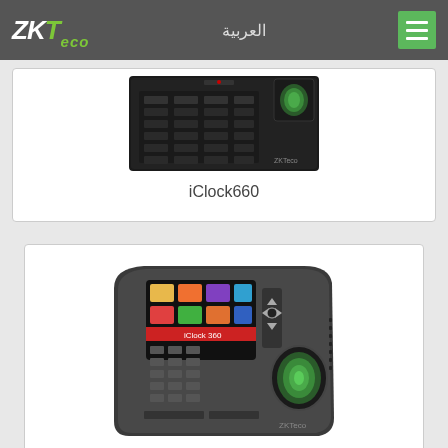ZKTeco | العربية
[Figure (photo): ZKTeco iClock660 fingerprint time attendance device - black device with keypad and green fingerprint sensor]
iClock660
[Figure (photo): ZKTeco fingerprint time attendance device with colorful touchscreen display and fingerprint sensor - iClock360 model]